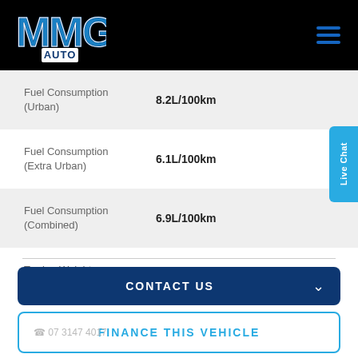[Figure (logo): MMG Auto logo in blue and white text on black background]
| Specification | Value |
| --- | --- |
| Fuel Consumption (Urban) | 8.2L/100km |
| Fuel Consumption (Extra Urban) | 6.1L/100km |
| Fuel Consumption (Combined) | 6.9L/100km |
| Towing Weight Braked | 1250kg |
CONTACT US
FINANCE THIS VEHICLE